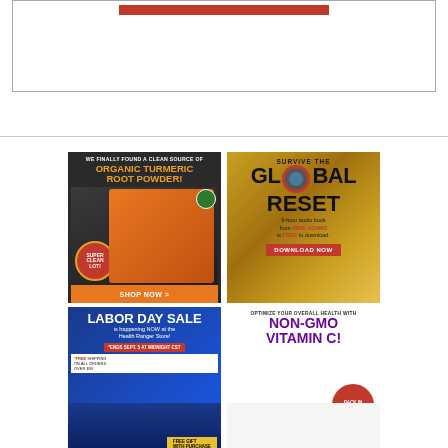[Figure (illustration): White box with border and a red horizontal bar near the top, representing an advertisement placeholder]
[Figure (illustration): Advertisement: WE FINALLY FOUND A CLEAN SOURCE OF ORGANIC TURMERIC ROOT POWDER! SUPER CLEAN LOT! SHOP NOW >]
[Figure (illustration): Advertisement: SURVIVE THE GLOBAL RESET - 9-hour audio book from MIKE ADAMS is FREE to download. DOWNLOAD NOW]
[Figure (illustration): Advertisement: LABOR DAY SALE is happening NOW at the Health Ranger Store! *ENDS SEPT. 5 AT MIDNIGHT CST *FREE SHIPPING ON ALL ORDERS OVER $99 FREE GIFT WITH PURCHASE]
[Figure (illustration): Advertisement: OPTIMIZE YOUR OVERALL HEALTH WITH NON-GMO VITAMIN C! BACK IN STOCK!]